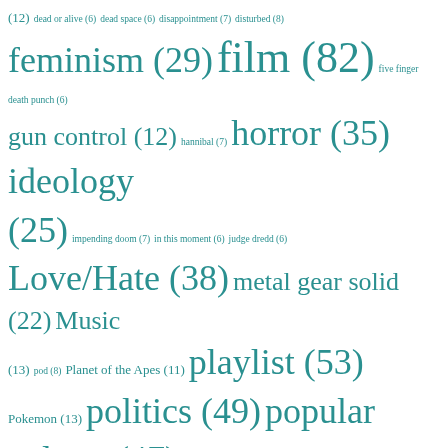[Figure (other): Tag cloud showing blog/website categories with counts, rendered in teal/cyan color at varying font sizes proportional to their counts. Tags include: (12), dead or alive (6), dead space (6), disappointment (7), disturbed (8), feminism (29), film (82), five finger death punch (6), gun control (12), hannibal (7), horror (35), ideology (25), impending doom (7), in this moment (6), judge dredd (6), Love/Hate (38), metal gear solid (22), Music (13), pod (8), Planet of the Apes (11), playlist (53), Pokemon (13), politics (49), popular culture (47), project 86 (6), quick fix (33), racism (10), Resident Evil (20), Retrospectives (76), reviews (99), sabaton (7), sex (12), social justice (30), star wars (7), Texas Chainsaw Massacre (14), The Howling (8), video games (84), volbeat (7), werewolves (10)]